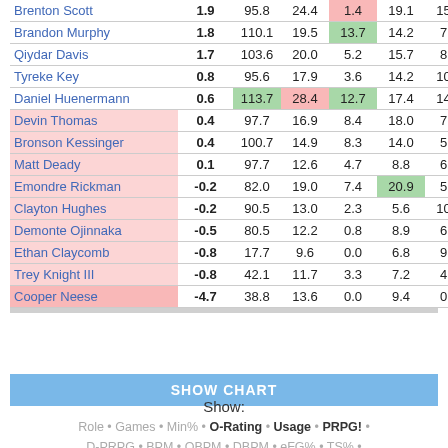| Player | PRPG! | O-Rating | Usage | OReb% | DReb% | Ast% | TOV% |
| --- | --- | --- | --- | --- | --- | --- | --- |
| Brenton Scott | 1.9 | 95.8 | 24.4 | 1.4 | 19.1 | 15.9 | 18.4 |
| Brandon Murphy | 1.8 | 110.1 | 19.5 | 13.7 | 14.2 | 7.6 | 22.2 |
| Qiydar Davis | 1.7 | 103.6 | 20.0 | 5.2 | 15.7 | 8.4 | 18.5 |
| Tyreke Key | 0.8 | 95.6 | 17.9 | 3.6 | 14.2 | 10.7 | 15.0 |
| Daniel Huenermann | 0.6 | 113.7 | 28.4 | 12.7 | 17.4 | 14.4 | 5.7 |
| Devin Thomas | 0.4 | 97.7 | 16.9 | 8.4 | 18.0 | 7.5 | 22.2 |
| Bronson Kessinger | 0.4 | 100.7 | 14.9 | 8.3 | 14.0 | 5.0 | 11.9 |
| Matt Deady | 0.1 | 97.7 | 12.6 | 4.7 | 8.8 | 6.9 | 19.0 |
| Emondre Rickman | -0.2 | 82.0 | 19.0 | 7.4 | 20.9 | 5.4 | 27.1 |
| Clayton Hughes | -0.2 | 90.5 | 13.0 | 2.3 | 5.6 | 10.6 | 31.4 |
| Demonte Ojinnaka | -0.5 | 80.5 | 12.2 | 0.8 | 8.9 | 6.2 | 17.1 |
| Ethan Claycomb | -0.8 | 17.7 | 9.6 | 0.0 | 6.8 | 9.3 | 0.0 |
| Trey Knight III | -0.8 | 42.1 | 11.7 | 3.3 | 7.2 | 4.9 | 57.3 |
| Cooper Neese | -4.7 | 38.8 | 13.6 | 0.0 | 9.4 | 0.0 | 64.4 |
SHOW CHART
Show: Role • Games • Min% • O-Rating • Usage • PRPG! • D-PRPG • BPM • OBPM • DBPM • eFG% • TS% • O Reb% • D Reb% • Ast% • TOV % • A/TO • Blk% • Stl% • FTR • FC/40 • Dunks • Rim • Mid • FTs • Twos • 3P Rate • 3P/100 • Throos